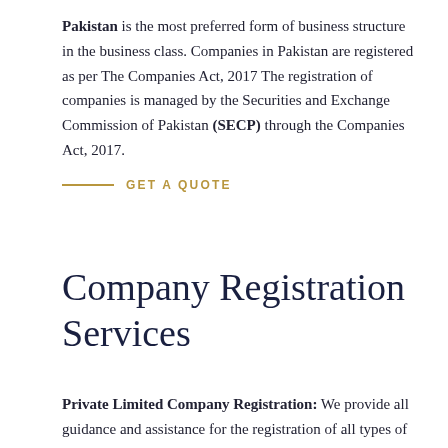Pakistan is the most preferred form of business structure in the business class. Companies in Pakistan are registered as per The Companies Act, 2017 The registration of companies is managed by the Securities and Exchange Commission of Pakistan (SECP) through the Companies Act, 2017.
GET A QUOTE
Company Registration Services
Private Limited Company Registration: We provide all guidance and assistance for the registration of all types of companies in Pakistan including a Private Limited Company.